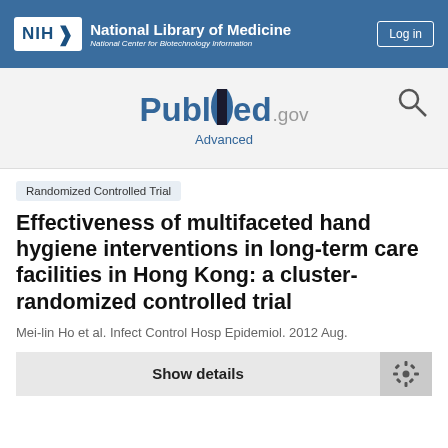NIH National Library of Medicine National Center for Biotechnology Information | Log in
[Figure (logo): PubMed.gov logo with search icon and Advanced link]
Randomized Controlled Trial
Effectiveness of multifaceted hand hygiene interventions in long-term care facilities in Hong Kong: a cluster-randomized controlled trial
Mei-lin Ho et al. Infect Control Hosp Epidemiol. 2012 Aug.
Show details